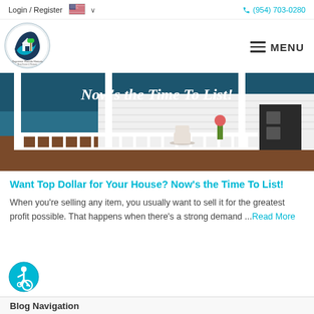Login / Register  (954) 703-0280
[Figure (logo): Supreme Florida Homes real estate logo - circular logo with palm tree and house icon in teal/dark blue]
MENU
[Figure (photo): Hero image of a white house porch with rocking chairs and text overlay reading 'Now's the Time To List!']
Want Top Dollar for Your House? Now's the Time To List!
When you're selling any item, you usually want to sell it for the greatest profit possible. That happens when there's a strong demand ...Read More
[Figure (illustration): Accessibility icon - teal circular button with wheelchair accessibility symbol]
Blog Navigation